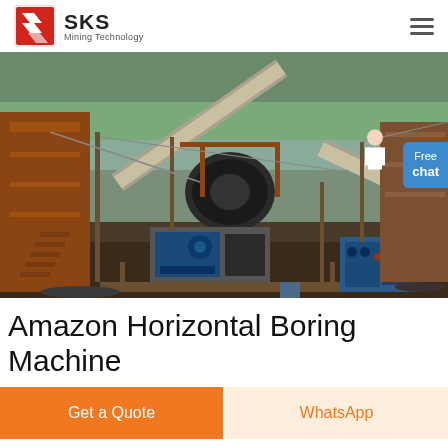SKS Mining Technology
[Figure (photo): Industrial mining facility with heavy machinery, conveyor belts, metal structures, and equipment near a river or waterway. Large orange/rust-colored metal frames, blue motors, and aggregate/gravel processing equipment visible.]
Amazon Horizontal Boring Machine
Get a Quote
WhatsApp